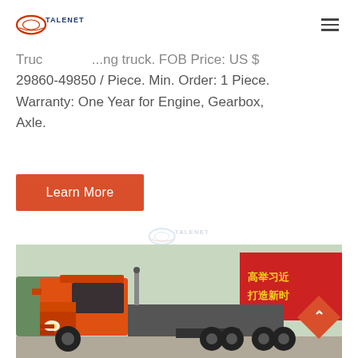TALENET
Truc... ...ing truck. FOB Price: US $ 29860-49850 / Piece. Min. Order: 1 Piece. Warranty: One Year for Engine, Gearbox, Axle.
Learn More
[Figure (photo): Orange Sinotruk HOWO tractor truck (semi-truck/prime mover) parked outdoors in front of a red banner with Chinese characters reading 高举习近 / 打造新时. Trees visible in background.]